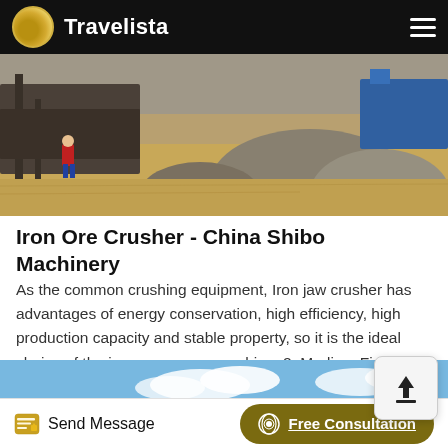Travelista
[Figure (photo): Industrial mining or crushing site with large mounds of crushed ore/gravel, equipment and machinery in background, worker in red jacket visible on left side]
Iron Ore Crusher - China Shibo Machinery
As the common crushing equipment, Iron jaw crusher has advantages of energy conservation, high efficiency, high production capacity and stable property, so it is the ideal choice of the iron ore coarse crushing. 2. Medium Fine Crushing
[Figure (photo): Partial view of a sky with clouds — blue sky strip visible at the bottom of the content area]
Send Message   Free Consultation